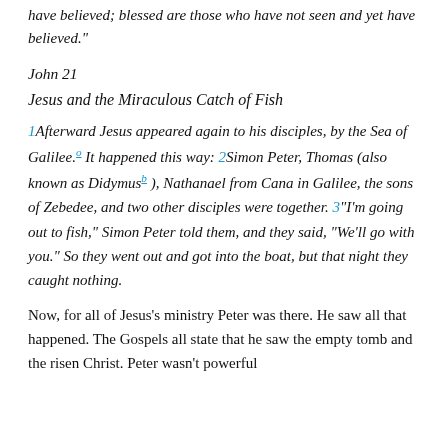have believed; blessed are those who have not seen and yet have believed.”
John 21
Jesus and the Miraculous Catch of Fish
1Afterward Jesus appeared again to his disciples, by the Sea of Galilee.° It happened this way: 2Simon Peter, Thomas (also known as Didymusb ), Nathanael from Cana in Galilee, the sons of Zebedee, and two other disciples were together. 3“I’m going out to fish,” Simon Peter told them, and they said, “We’ll go with you.” So they went out and got into the boat, but that night they caught nothing.
Now, for all of Jesus’s ministry Peter was there. He saw all that happened. The Gospels all state that he saw the empty tomb and the risen Christ. Peter wasn’t powerful